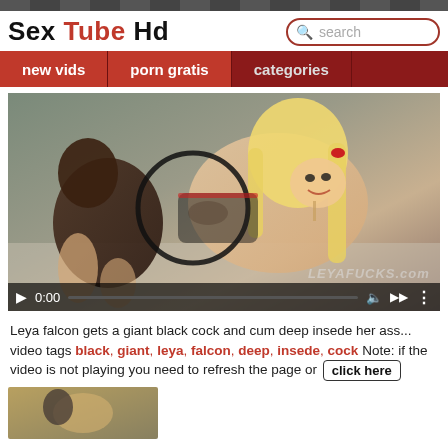Sex Tube Hd — search bar
new vids | porn gratis | categories
[Figure (screenshot): Video player showing adult content thumbnail with play button, timestamp 0:00, progress bar, and watermark LEYAFUCKS.com]
Leya falcon gets a giant black cock and cum deep insede her ass... video tags black, giant, leya, falcon, deep, insede, cock Note: if the video is not playing you need to refresh the page or click here
[Figure (screenshot): Partial thumbnail of another video at the bottom of the page]